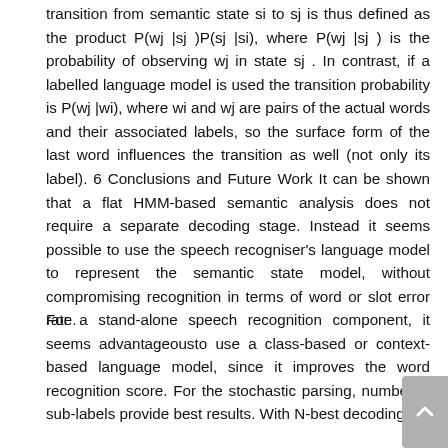transition from semantic state si to sj is thus defined as the product P(wj |sj )P(sj |si), where P(wj |sj ) is the probability of observing wj in state sj . In contrast, if a labelled language model is used the transition probability is P(wj |wi), where wi and wj are pairs of the actual words and their associated labels, so the surface form of the last word influences the transition as well (not only its label). 6 Conclusions and Future Work It can be shown that a flat HMM-based semantic analysis does not require a separate decoding stage. Instead it seems possible to use the speech recogniser's language model to represent the semantic state model, without compromising recognition in terms of word or slot error rate.
For a stand-alone speech recognition component, it seems advantageousto use a class-based or context-based language model, since it improves the word recognition score. For the stochastic parsing, numbered sub-labels provide best results. With N-best decoding,